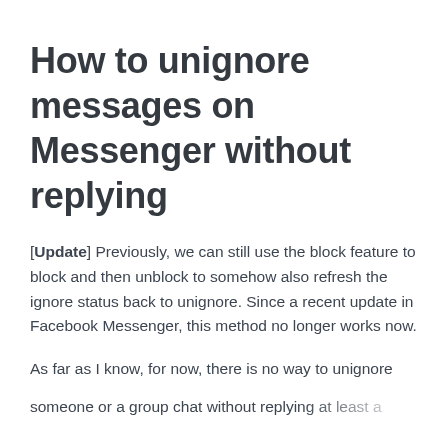How to unignore messages on Messenger without replying
[Update] Previously, we can still use the block feature to block and then unblock to somehow also refresh the ignore status back to unignore. Since a recent update in Facebook Messenger, this method no longer works now.
As far as I know, for now, there is no way to unignore someone or a group chat without replying at least a